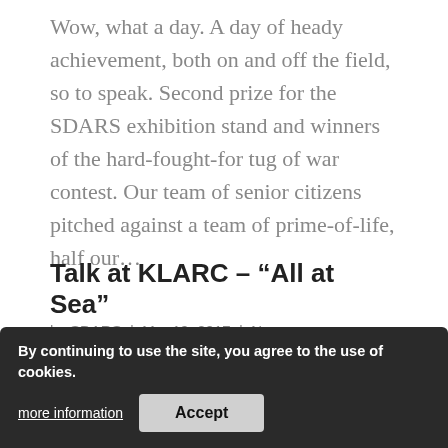Wow, what a day. A day of heady achievement, both on and off the field, so to speak. Second prize for the SDARS exhibition stand and winners of the hard-fought-for tug of war contest. Our team of senior citizens pitched against a team of prime-of-life, half our…
Talk at KLARC – "All at Sea"
by SDARS | Mar 19, 2017 | News
Hi all, I have just received a message from KLARC... your me... Thu... d March we will be hosting a talk by Steve Nicholls G0KYA entitled ALL AT SEA. Club opens 7pm tea...
By continuing to use the site, you agree to the use of cookies.
more information
Accept